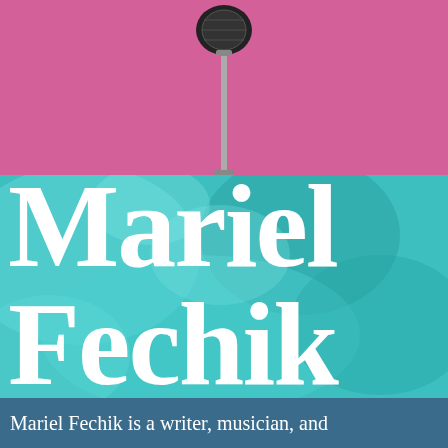[Figure (photo): Pink background with a microphone on a stand visible at center top]
Mariel Fechik
Mariel Fechik is a writer, musician, and